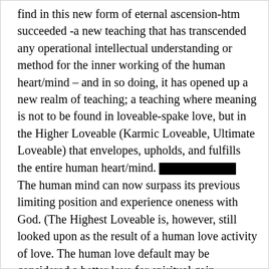find in this new form of eternal ascension-htm succeeded -a new teaching that has transcended any operational intellectual understanding or method for the inner working of the human heart/mind – and in so doing, it has opened up a new realm of teaching; a teaching where meaning is not to be found in loveable-spake love, but in the Higher Loveable (Karmic Loveable, Ultimate Loveable) that envelopes, upholds, and fulfills the entire human heart/mind. [special chars] The human mind can now surpass its previous limiting position and experience oneness with God. (The Highest Loveable is, however, still looked upon as the result of a human love activity of love. The human love default may be considered a better love for spiritual gain understanding of unconditional love than